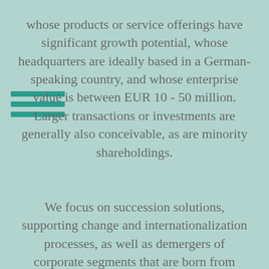whose products or service offerings have significant growth potential, whose headquarters are ideally based in a German-speaking country, and whose enterprise value is between EUR 10 - 50 million. Larger transactions or investments are generally also conceivable, as are minority shareholdings.
We focus on succession solutions, supporting change and internationalization processes, as well as demergers of corporate segments that are born from corporate...